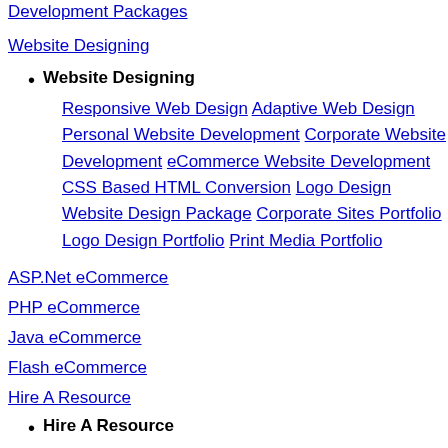Development Packages
Website Designing
Website Designing
Responsive Web Design Adaptive Web Design Personal Website Development Corporate Website Development eCommerce Website Development CSS Based HTML Conversion Logo Design Website Design Package Corporate Sites Portfolio Logo Design Portfolio Print Media Portfolio
ASP.Net eCommerce
PHP eCommerce
Java eCommerce
Flash eCommerce
Hire A Resource
Hire A Resource